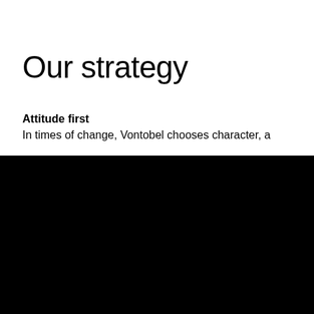Our strategy
Attitude first
In times of change, Vontobel chooses character, a
We use a combination of cookies to improve your user experience on our site. To ensure the best possible experience, we recommend that you enable all cookies. Click on "specify preferences" to adjust specific cookie settings.
ACCEPT ALL
Specify preferences